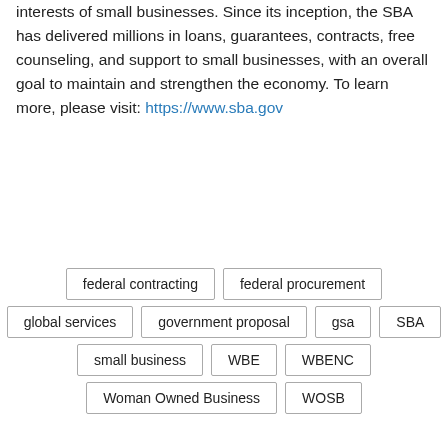interests of small businesses. Since its inception, the SBA has delivered millions in loans, guarantees, contracts, free counseling, and support to small businesses, with an overall goal to maintain and strengthen the economy. To learn more, please visit: https://www.sba.gov
federal contracting
federal procurement
global services
government proposal
gsa
SBA
small business
WBE
WBENC
Woman Owned Business
WOSB